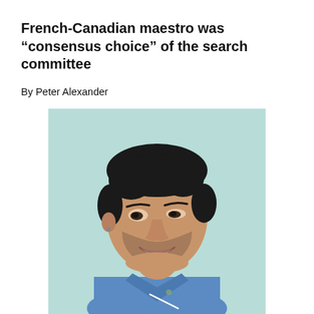French-Canadian maestro was “consensus choice” of the search committee
By Peter Alexander
[Figure (photo): A young man with dark hair and a beard wearing a blue denim shirt, smiling and looking to his right, against a light teal/mint background. He appears to be holding a conductor's baton.]